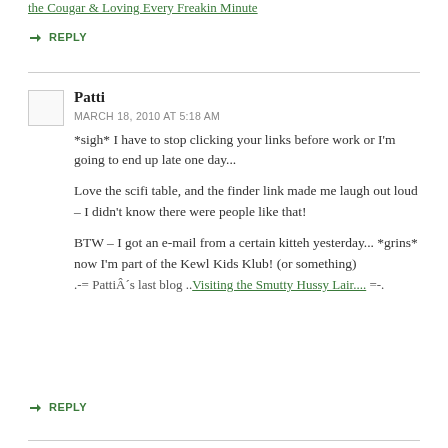the Cougar & Loving Every Freakin Minute
REPLY
Patti
MARCH 18, 2010 AT 5:18 AM
*sigh* I have to stop clicking your links before work or I'm going to end up late one day...

Love the scifi table, and the finder link made me laugh out loud – I didn't know there were people like that!

BTW – I got an e-mail from a certain kitteh yesterday... *grins* now I'm part of the Kewl Kids Klub! (or something)
.-= PattiÂ´s last blog ..Visiting the Smutty Hussy Lair.... =-.
REPLY